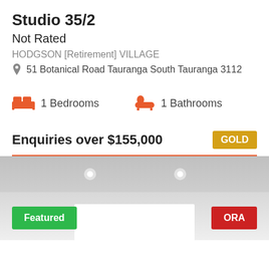Studio 35/2
Not Rated
HODGSON [Retirement] VILLAGE
51 Botanical Road Tauranga South Tauranga 3112
1 Bedrooms
1 Bathrooms
Enquiries over $155,000
GOLD
[Figure (photo): Interior photo of a room with recessed ceiling lights and white walls; overlaid with a green 'Featured' badge on the left and a red 'ORA' badge on the right]